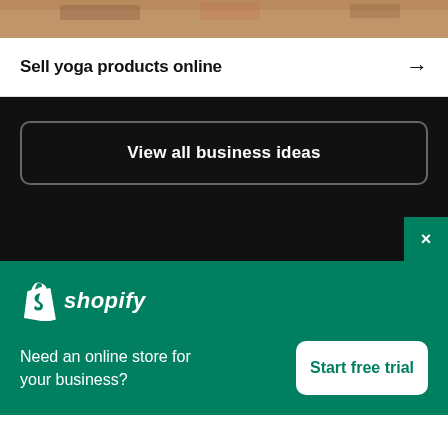[Figure (photo): Partial view of a photo showing a person doing yoga, cropped at the top of the page]
Sell yoga products online →
View all business ideas
[Figure (logo): Shopify logo — bag icon and italic shopify text in white]
Need an online store for your business?
Start free trial